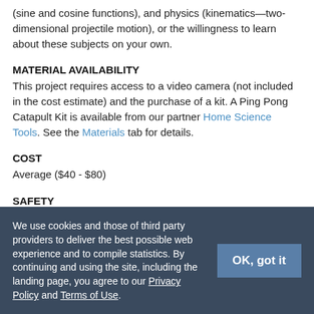(sine and cosine functions), and physics (kinematics—two-dimensional projectile motion), or the willingness to learn about these subjects on your own.
MATERIAL AVAILABILITY
This project requires access to a video camera (not included in the cost estimate) and the purchase of a kit. A Ping Pong Catapult Kit is available from our partner Home Science Tools. See the Materials tab for details.
COST
Average ($40 - $80)
SAFETY
Minor injury possible. Never aim the catapult at anyone, and keep
We use cookies and those of third party providers to deliver the best possible web experience and to compile statistics. By continuing and using the site, including the landing page, you agree to our Privacy Policy and Terms of Use.